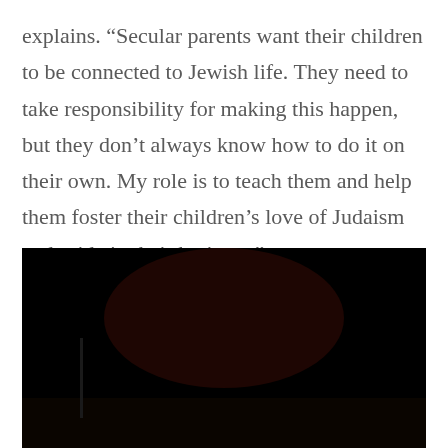explains. “Secular parents want their children to be connected to Jewish life. They need to take responsibility for making this happen, but they don’t always know how to do it on their own. My role is to teach them and help them foster their children’s love of Judaism and pride in their heritage.”
[Figure (photo): Nighttime outdoor scene showing a large bonfire or torch in the center with a crowd of people silhouetted in the foreground. Street lights and city lights are visible in the background against a dark night sky.]